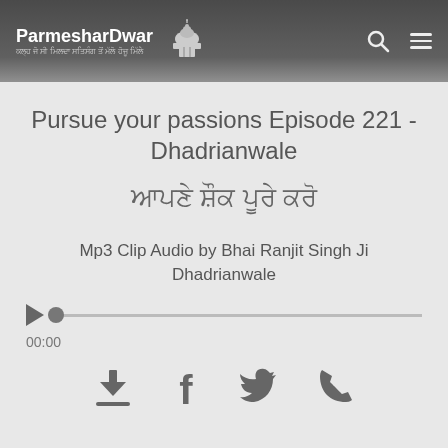ParmesharDwar
Pursue your passions Episode 221 - Dhadrianwale
ਆਪਣੇ ਸ਼ੌਕ ਪੂਰੇ ਕਰੋ
Mp3 Clip Audio by Bhai Ranjit Singh Ji Dhadrianwale
[Figure (other): Audio player with play button and seek bar showing 00:00]
[Figure (other): Social sharing icons: download, Facebook, Twitter, phone/WhatsApp]